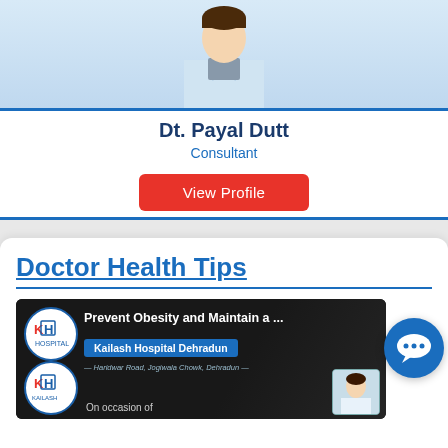[Figure (photo): Photo of Dt. Payal Dutt, a doctor in white coat with blue lanyard]
Dt. Payal Dutt
Consultant
View Profile
Doctor Health Tips
[Figure (screenshot): Video thumbnail: Prevent Obesity and Maintain a ... by Kailash Hospital Dehradun, Haridwar Road, Jogiwala Chowk, Dehradun. On occasion of [text with doctor photo]]